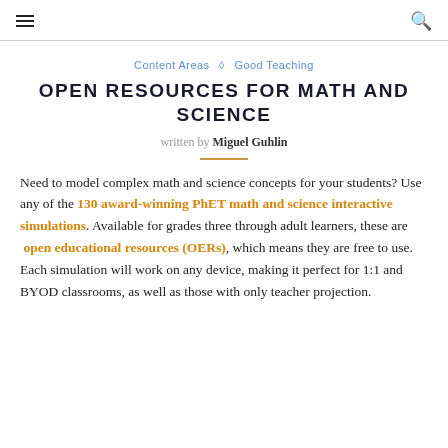≡  🔍
Content Areas  ◇  Good Teaching
OPEN RESOURCES FOR MATH AND SCIENCE
written by Miguel Guhlin
Need to model complex math and science concepts for your students? Use any of the 130 award-winning PhET math and science interactive simulations. Available for grades three through adult learners, these are open educational resources (OERs), which means they are free to use. Each simulation will work on any device, making it perfect for 1:1 and BYOD classrooms, as well as those with only teacher projection.